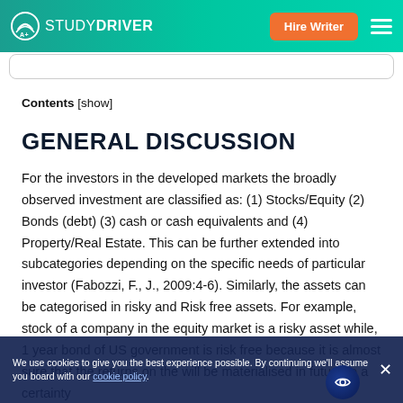STUDYDRIVER — Hire Writer
Contents [show]
GENERAL DISCUSSION
For the investors in the developed markets the broadly observed investment are classified as: (1) Stocks/Equity (2) Bonds (debt) (3) cash or cash equivalents and (4) Property/Real Estate. This can be further extended into subcategories depending on the specific needs of particular investor (Fabozzi, F., J., 2009:4-6). Similarly, the assets can be categorised in risky and Risk free assets. For example, stock of a company in the equity market is a risky asset while, 1 year bond of US government is risk free because it is almost sure that the returns on the will be materialised in future to a certainty
We use cookies to give you the best experience possible. By continuing we'll assume you board with our cookie policy.